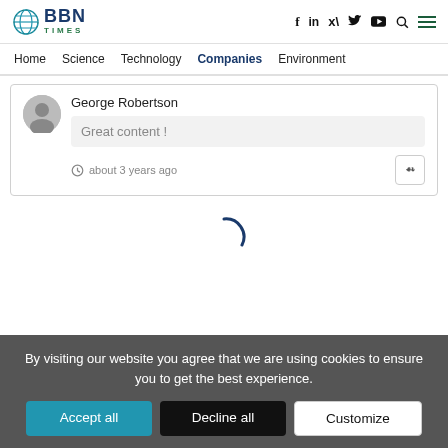BBN Times — Home | Science | Technology | Companies | Environment
George Robertson
Great content !
about 3 years ago
[Figure (other): Loading spinner arc]
By visiting our website you agree that we are using cookies to ensure you to get the best experience.
Accept all   Decline all   Customize